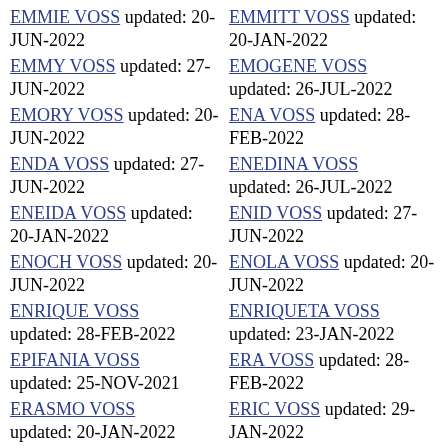EMMIE VOSS updated: 20-JUN-2022
EMMITT VOSS updated: 20-JAN-2022
EMMY VOSS updated: 27-JUN-2022
EMOGENE VOSS updated: 26-JUL-2022
EMORY VOSS updated: 20-JUN-2022
ENA VOSS updated: 28-FEB-2022
ENDA VOSS updated: 27-JUN-2022
ENEDINA VOSS updated: 26-JUL-2022
ENEIDA VOSS updated: 20-JAN-2022
ENID VOSS updated: 27-JUN-2022
ENOCH VOSS updated: 20-JUN-2022
ENOLA VOSS updated: 20-JUN-2022
ENRIQUE VOSS updated: 28-FEB-2022
ENRIQUETA VOSS updated: 23-JAN-2022
EPIFANIA VOSS updated: 25-NOV-2021
ERA VOSS updated: 28-FEB-2022
ERASMO VOSS updated: 20-JAN-2022
ERIC VOSS updated: 29-JAN-2022
ERICA VOSS updated: 10-MAY-2022
ERICH VOSS updated: 20-JUN-2022